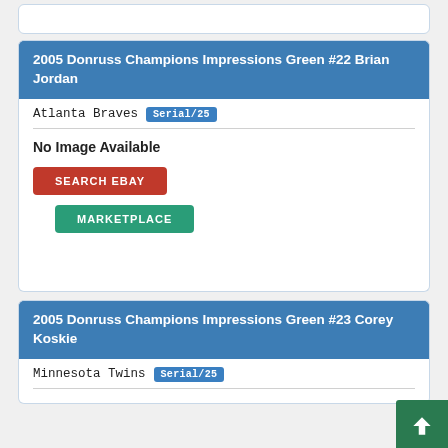2005 Donruss Champions Impressions Green #22 Brian Jordan
Atlanta Braves Serial/25
No Image Available
SEARCH EBAY
MARKETPLACE
2005 Donruss Champions Impressions Green #23 Corey Koskie
Minnesota Twins Serial/25